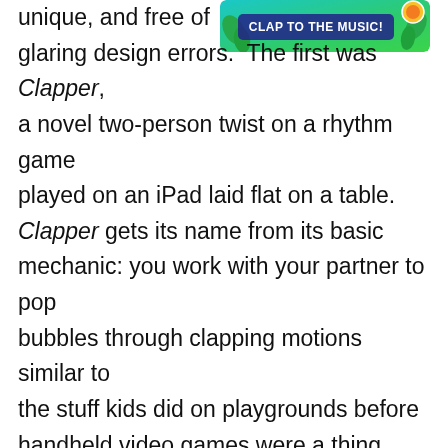[Figure (screenshot): A colorful banner/screenshot with teal/green background showing text 'CLAP TO THE MUSIC!' in bold white letters with tropical leaf decorations and a circular element]
unique, and free of glaring design errors. The first was Clapper, a novel two-person twist on a rhythm game played on an iPad laid flat on a table. Clapper gets its name from its basic mechanic: you work with your partner to pop bubbles through clapping motions similar to the stuff kids did on playgrounds before handheld video games were a thing. The tablet tracks the hand movements as shadows on the screen, and if the shadows trap a bubble between them, that scores points.